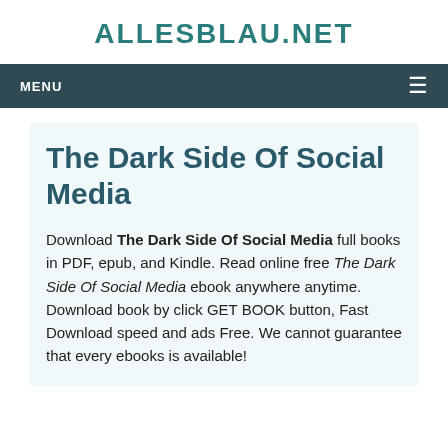ALLESBLAU.NET
MENU
The Dark Side Of Social Media
Download The Dark Side Of Social Media full books in PDF, epub, and Kindle. Read online free The Dark Side Of Social Media ebook anywhere anytime. Download book by click GET BOOK button, Fast Download speed and ads Free. We cannot guarantee that every ebooks is available!